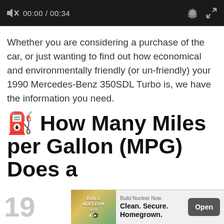[Figure (screenshot): Video player control bar showing mute icon, timestamp 00:00 / 00:34, gear/settings icon, and fullscreen expand icon on a dark background]
Whether you are considering a purchase of the car, or just wanting to find out how economical and environmentally friendly (or un-friendly) your 1990 Mercedes-Benz 350SDL Turbo is, we have the information you need.
⛽ How Many Miles per Gallon (MPG) Does a
[Figure (screenshot): Advertisement banner for Build Nuclear Now: Clean. Secure. Homegrown. with an Open button, overlaid on partially visible watermark text showing '19...' and 'z']